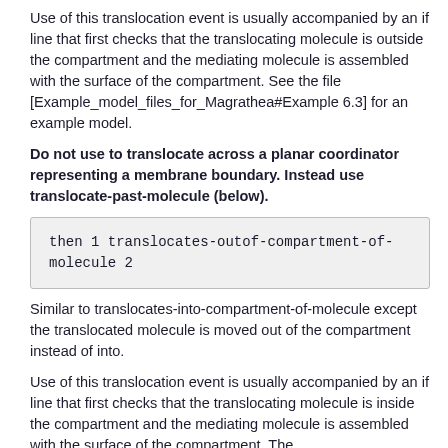Use of this translocation event is usually accompanied by an if line that first checks that the translocating molecule is outside the compartment and the mediating molecule is assembled with the surface of the compartment. See the file [Example_model_files_for_Magrathea#Example 6.3] for an example model.
Do not use to translocate across a planar coordinator representing a membrane boundary. Instead use translocate-past-molecule (below).
Similar to translocates-into-compartment-of-molecule except the translocated molecule is moved out of the compartment instead of into.
Use of this translocation event is usually accompanied by an if line that first checks that the translocating molecule is inside the compartment and the mediating molecule is assembled with the surface of the compartment. The